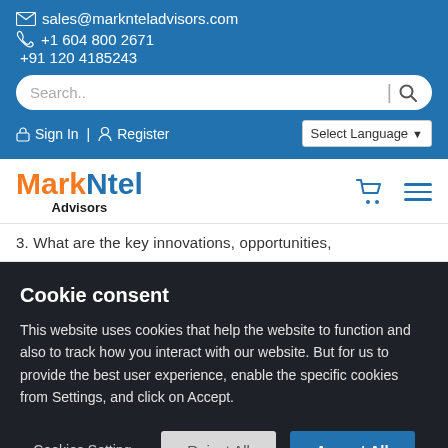sales@marknteladvisors.com | +1 604 800 2671 | +91 120 4185243
Search..
Sign In | Register | Select Language
MarkNtel Advisors
3. What are the key innovations, opportunities,
Cookie consent
This website uses cookies that help the website to function and also to track how you interact with our website. But for us to provide the best user experience, enable the specific cookies from Settings, and click on Accept.
Cookies Setting  Reject All  Accept All